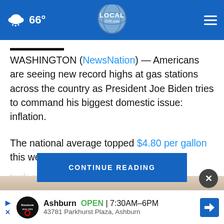LOCALsyr.com — 66° weather header
WASHINGTON (NewsNation) — Americans are seeing new record highs at gas stations across the country as President Joe Biden tries to command his biggest domestic issue: inflation.
The national average topped $4.80 per gallon this week, which is [blurred] hen Biden took office. A [blurred] time was on
[Figure (screenshot): CONTINUE READING button overlay in blue]
[Figure (screenshot): Close button (X) dark circle]
[Figure (infographic): Advertisement bar: Firestone Auto Care, Ashburn OPEN 7:30AM-6PM, 43781 Parkhurst Plaza, Ashburn]